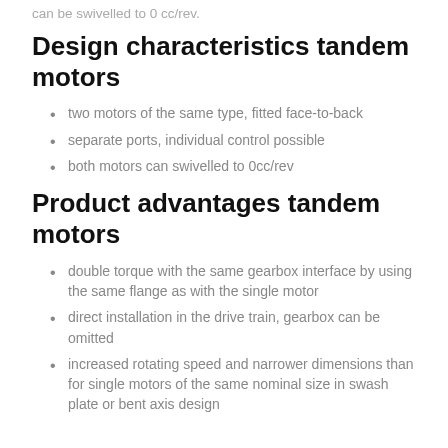can be swivelled to 0 cc/rev.
Design characteristics tandem motors
two motors of the same type, fitted face-to-back
separate ports, individual control possible
both motors can swivelled to 0cc/rev
Product advantages tandem motors
double torque with the same gearbox interface by using the same flange as with the single motor
direct installation in the drive train, gearbox can be omitted
increased rotating speed and narrower dimensions than for single motors of the same nominal size in swash plate or bent axis design